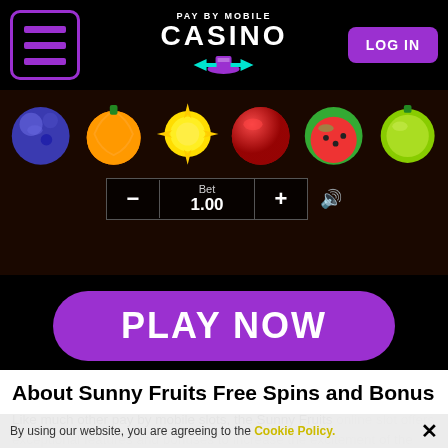[Figure (screenshot): Pay By Mobile Casino website header with hamburger menu icon, casino logo with hat and playing card graphics, and purple LOG IN button]
[Figure (screenshot): Sunny Fruits slot game screenshot showing colorful fruit symbols (blueberry, orange, sun, red ball, watermelon, lime) and bet controls with minus/plus buttons showing Bet 1.00]
[Figure (other): Purple PLAY NOW button with rounded corners on black background]
About Sunny Fruits Free Spins and Bonus Rounds
Like much other pay by mobile slots, the Sunny Fruits online slot offers exceptional features and bonuses to increase the excitement of the gameplay and increase
By using our website, you are agreeing to the Cookie Policy. ✕